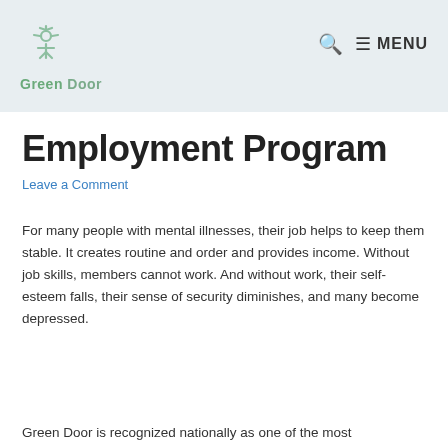Green Door  🔍 ☰ MENU
Employment Program
Leave a Comment
For many people with mental illnesses, their job helps to keep them stable. It creates routine and order and provides income. Without job skills, members cannot work. And without work, their self-esteem falls, their sense of security diminishes, and many become depressed.
Green Door is recognized nationally as one of the most